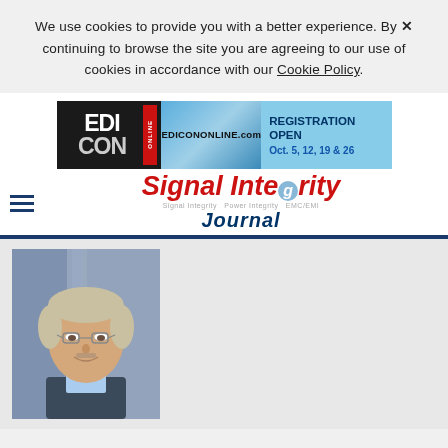We use cookies to provide you with a better experience. By continuing to browse the site you are agreeing to our use of cookies in accordance with our Cookie Policy.
[Figure (other): EDI CON ONLINE banner advertisement — EDICONONLINE.com, REGISTRATION OPEN, Oct. 5, 12, 19 & 26]
[Figure (logo): Signal Integrity Journal logo with hamburger menu icon]
[Figure (photo): Portrait photo of a middle-aged man with gray-blond hair, glasses, and a suit jacket, smiling]